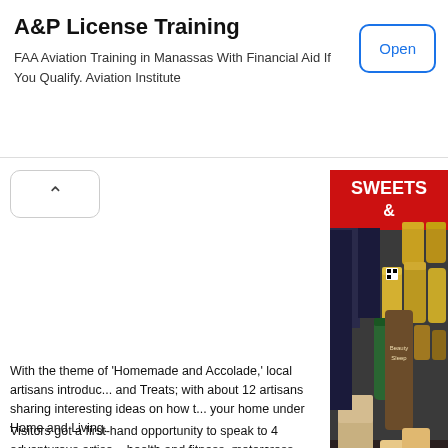A&P License Training
FAA Aviation Training in Manassas With Financial Aid If You Qualify. Aviation Institute
[Figure (photo): Market stall with jars, bottles and packages of food products including sweets and beauty/health items on a table. A red sign reading 'SWEETS &' is visible in the background.]
With the theme of 'Homemade and Accolade,' local artisans introduc... and Treats; with about 12 artisans sharing interesting ideas on how t... your home under Home and Living.
Visitors got a first-hand opportunity to speak to 4 adventurous artisa... health and fitness, motorcross sports and 4 by 4 overland exploratio... activities....